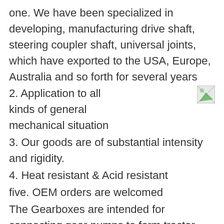one. We have been specialized in developing, manufacturing drive shaft, steering coupler shaft, universal joints, which have exported to the USA, Europe, Australia and so forth for several years
2. Application to all kinds of general mechanical situation
3. Our goods are of substantial intensity and rigidity.
4. Heat resistant & Acid resistant
five. OEM orders are welcomed
The Gearboxes are intended for connecting gear pumps to farm tractor electrical power get offs (PTO).Output speed of power get offs is 540rpm which could be in contrast with the proper operating speeds of hydraulic pumps.Distinctive input running speeds also can be suitable,presented the PTO gearbox output speed will not exceed 3000 rpm.
Gears